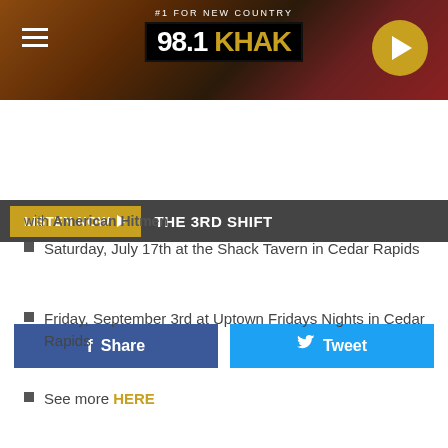[Figure (screenshot): 98.1 KHAK radio station website header banner with logo, hamburger menu, and play button]
#1 FOR NEW COUNTRY | 98.1 KHAK
LISTEN NOW ▶  THE 3RD SHIFT
Share  Tweet
with American Hitmen
Saturday, July 17th at the Shack Tavern in Cedar Rapids
Friday, September 3rd at Uptown Fridays Nights in Cedar Rapids
See more HERE